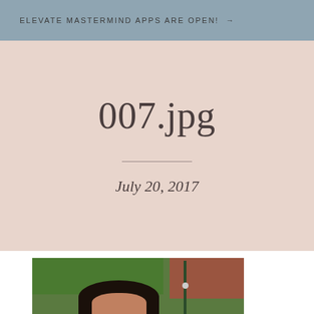ELEVATE MASTERMIND APPS ARE OPEN! →
007.jpg
July 20, 2017
[Figure (photo): Outdoor photo of a woman with dark hair smiling, with green trees and brick building in background]